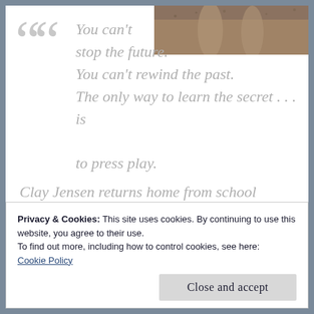[Figure (photo): Partial photo of legs/feet on ground, visible in top-right corner]
““
You can’t stop the future. You can’t rewind the past. The only way to learn the secret . . . is to press play.
Clay Jensen returns home from school to find a strange package with his name on it lying on his porch. Inside
Privacy & Cookies: This site uses cookies. By continuing to use this website, you agree to their use.
To find out more, including how to control cookies, see here: Cookie Policy
Close and accept